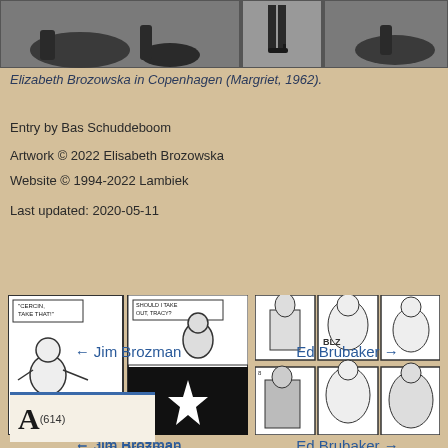[Figure (photo): Three black-and-white photos side by side at the top of the page, showing person(s) in Copenhagen, 1962.]
Elizabeth Brozowska in Copenhagen (Margriet, 1962).
Entry by Bas Schuddeboom
Artwork © 2022 Elisabeth Brozowska
Website © 1994-2022 Lambiek
Last updated: 2020-05-11
[Figure (illustration): Comic strip thumbnail for Jim Brozman navigation link, black and white comic panels showing characters.]
← Jim Brozman
[Figure (illustration): Comic strip thumbnail for Ed Brubaker navigation link, black and white comic panels showing characters.]
Ed Brubaker →
A(614)